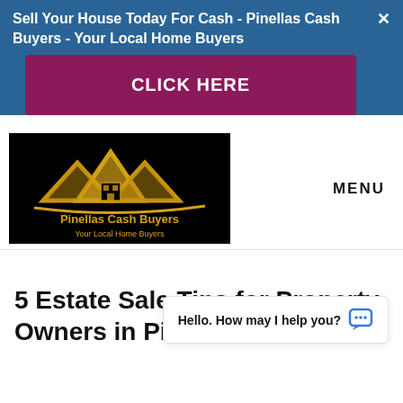Sell Your House Today For Cash - Pinellas Cash Buyers - Your Local Home Buyers
[Figure (other): CLICK HERE button - magenta/dark pink rectangular button]
[Figure (logo): Pinellas Cash Buyers logo - gold house/mountain icon on black background with text 'Pinellas Cash Buyers Your Local Home Buyers']
MENU
5 Estate Sale Tips for Property Owners in Pi...
Hello. How may I help you?